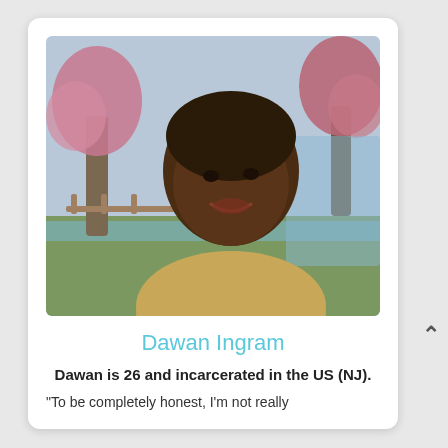[Figure (photo): Portrait photo of a young Black man smiling, wearing a tan/beige shirt, with a painted scenic background featuring trees with pink/red blossoms and a blue sky]
Dawan Ingram
Dawan is 26 and incarcerated in the US (NJ).
"To be completely honest, I'm not really